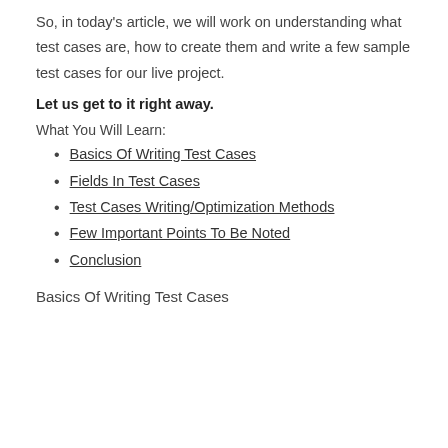So, in today's article, we will work on understanding what test cases are, how to create them and write a few sample test cases for our live project.
Let us get to it right away.
What You Will Learn:
Basics Of Writing Test Cases
Fields In Test Cases
Test Cases Writing/Optimization Methods
Few Important Points To Be Noted
Conclusion
Basics Of Writing Test Cases